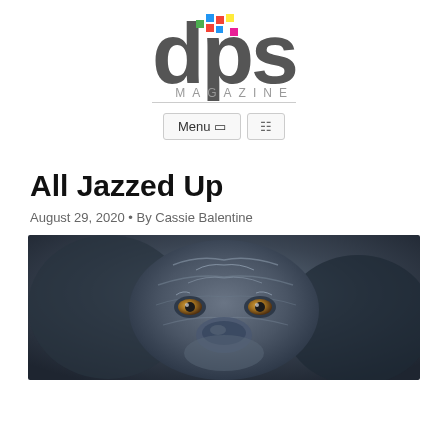[Figure (logo): DPS Magazine logo with colorful pixel dots above the letters 'dps' in large dark gray font, and 'MAGAZINE' in smaller spaced letters below with an underline]
[Figure (other): Navigation bar with 'Menu' button and a search/icon button]
All Jazzed Up
August 29, 2020 • By Cassie Balentine
[Figure (photo): Close-up photograph of an animal (appears to be a big cat or dog) with striking eyes, dark gray/blue fur with textured patterns, looking directly at the camera]